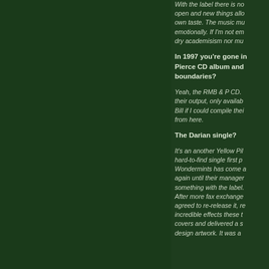With the label there is no... open and new things allo... own taste. The music mu... emotionally. If I'm not em... dry academisism nor mu...
In 1997 you're gone in... Pierce CD album and... boundaries?
Yeah, the RMB & P CD. their output, only availab... Bill if I could compile thei... from here.
The Darian single?
It's an another Yellow Pil... hard-to-find single first p... Wondermints has come ... again until their manager... something with the label.... After more fax exchange... agreed to re-release it, re... incredible effects these t... covers and delivered a s... design artwork. It was a...